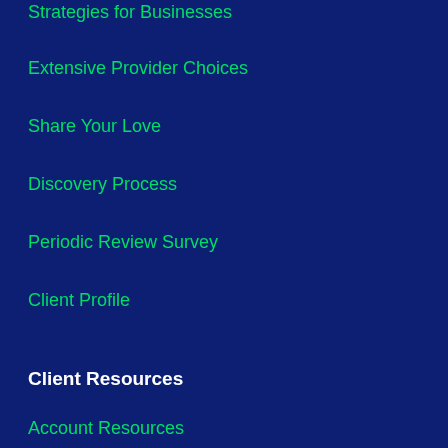Strategies for Businesses
Extensive Provider Choices
Share Your Love
Discovery Process
Periodic Review Survey
Client Profile
Client Resources
Account Resources
Beneficiary Resources
Contact Us